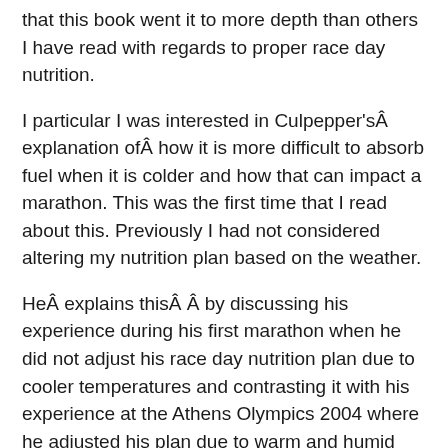that this book went it to more depth than others I have read with regards to proper race day nutrition.
I particular I was interested in Culpepper'sÂ explanation ofÂ how it is more difficult to absorb fuel when it is colder and how that can impact a marathon. This was the first time that I read about this. Previously I had not considered altering my nutrition plan based on the weather.
HeÂ explains thisÂ Â by discussing his experience during his first marathon when he did not adjust his race day nutrition plan due to cooler temperatures and contrasting it with his experience at the Athens Olympics 2004 where he adjusted his plan due to warm and humid temperatures.
Culpepper also provides plenty of good tips on training, recovery, creating balance, injury prevention and racing. Overall I would recommend this book Â to any runner who is getting started or is looking to make tweaks to their training.